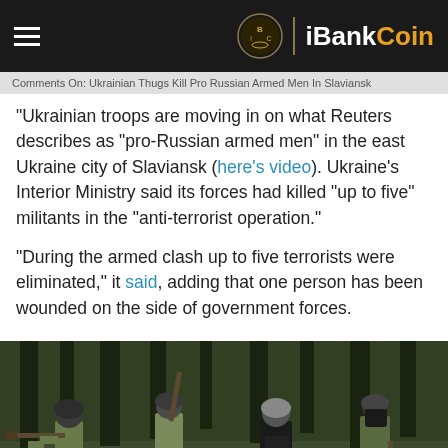iBankCoin
Comments On: Ukrainian Thugs Kill Pro Russian Armed Men In Slaviansk
“Ukrainian troops are moving in on what Reuters describes as “pro-Russian armed men” in the east Ukraine city of Slaviansk (here’s video). Ukraine’s Interior Ministry said its forces had killed “up to five” militants in the “anti-terrorist operation.”
“During the armed clash up to five terrorists were eliminated,” it said, adding that one person has been wounded on the side of government forces.
[Figure (photo): Four armed soldiers in camouflage and helmets, some aiming rifles, standing amid smoke in a wooded area during a military operation in Slaviansk, Ukraine.]